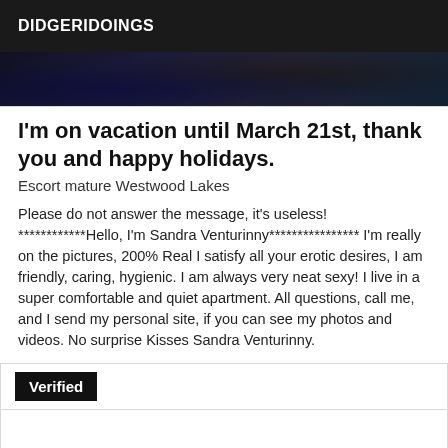DIDGERIDOINGS
[Figure (photo): Dark blue-toned photo strip, partial view of people/objects in dim lighting]
I'm on vacation until March 21st, thank you and happy holidays.
Escort mature Westwood Lakes
Please do not answer the message, it's useless! ************Hello, I'm Sandra Venturinny**************** I'm really on the pictures, 200% Real I satisfy all your erotic desires, I am friendly, caring, hygienic. I am always very neat sexy! I live in a super comfortable and quiet apartment. All questions, call me, and I send my personal site, if you can see my photos and videos. No surprise Kisses Sandra Venturinny.
Verified